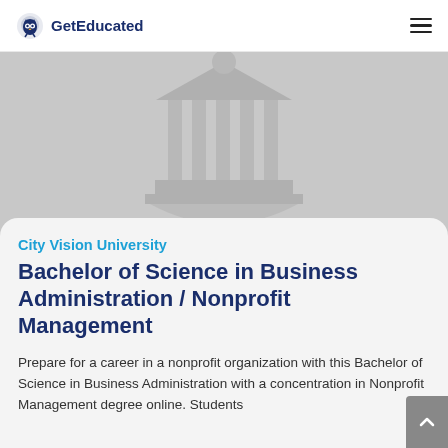GetEducated
[Figure (illustration): Gray hero banner with a university/institution building icon (columns and pediment) in light gray on a gray background]
City Vision University
Bachelor of Science in Business Administration / Nonprofit Management
Prepare for a career in a nonprofit organization with this Bachelor of Science in Business Administration with a concentration in Nonprofit Management degree online. Students